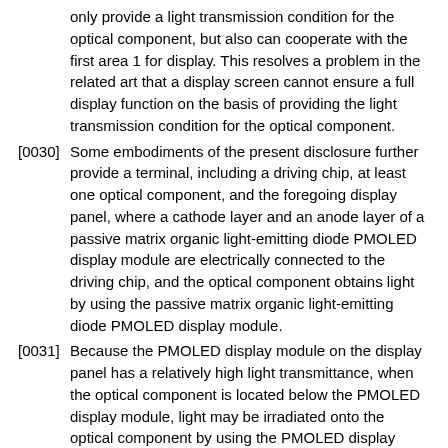only provide a light transmission condition for the optical component, but also can cooperate with the first area 1 for display. This resolves a problem in the related art that a display screen cannot ensure a full display function on the basis of providing the light transmission condition for the optical component.
[0030] Some embodiments of the present disclosure further provide a terminal, including a driving chip, at least one optical component, and the foregoing display panel, where a cathode layer and an anode layer of a passive matrix organic light-emitting diode PMOLED display module are electrically connected to the driving chip, and the optical component obtains light by using the passive matrix organic light-emitting diode PMOLED display module.
[0031] Because the PMOLED display module on the display panel has a relatively high light transmittance, when the optical component is located below the PMOLED display module, light may be irradiated onto the optical component by using the PMOLED display module, so that the